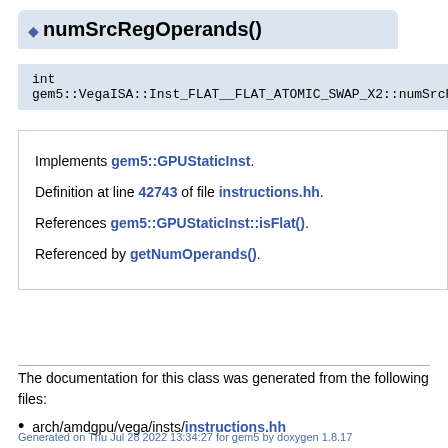numSrcRegOperands()
int gem5::VegaISA::Inst_FLAT__FLAT_ATOMIC_SWAP_X2::numSrcRe
Implements gem5::GPUStaticInst. Definition at line 42743 of file instructions.hh. References gem5::GPUStaticInst::isFlat(). Referenced by getNumOperands().
The documentation for this class was generated from the following files:
arch/amdgpu/vega/insts/instructions.hh
arch/amdgpu/vega/insts/instructions.cc
Generated on Thu Jul 28 2022 13:34:27 for gem5 by doxygen 1.8.17